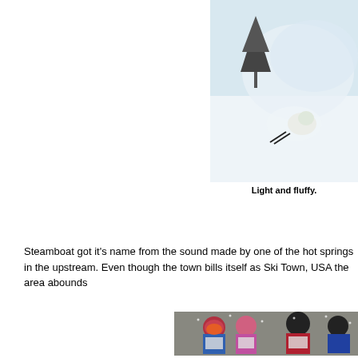[Figure (photo): A skier in deep powder snow, mostly buried with snow spray, on a white snowy slope with a tree in the background]
Light and fluffy.
Steamboat got it's name from the sound made by one of the hot springs in the upstream. Even though the town bills itself as Ski Town, USA the area abounds
[Figure (photo): A group of young children in ski school, wearing colorful ski gear, helmets, goggles and bibs, standing in the snow during a snowfall]
Ski school is always going the extra mile! Your kids are